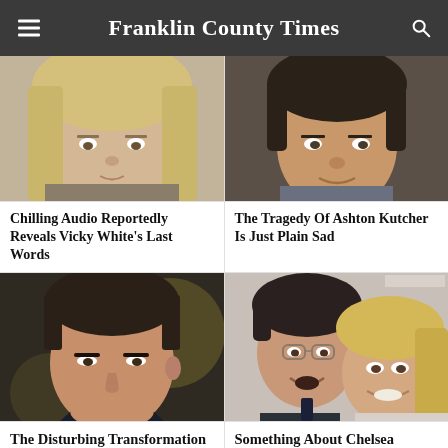Franklin County Times
[Figure (photo): Close-up photo of a woman with blonde hair]
[Figure (photo): Close-up photo of a man (Ashton Kutcher) smiling]
Chilling Audio Reportedly Reveals Vicky White's Last Words
The Tragedy Of Ashton Kutcher Is Just Plain Sad
[Figure (photo): Close-up photo of a man (Matt Lauer) looking serious]
[Figure (photo): Photo of a man with glasses and a blonde woman smiling]
The Disturbing Transformation
Something About Chelsea